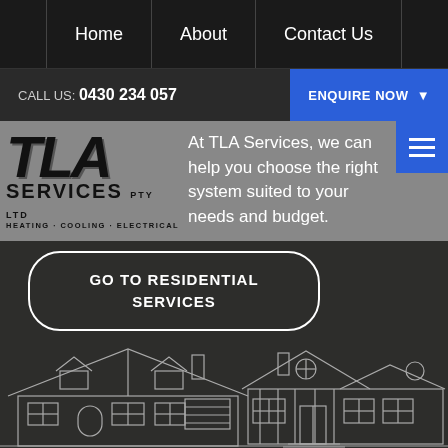Home | About | Contact Us
CALL US: 0430 234 057  ENQUIRE NOW
[Figure (logo): TLA Services Pty Ltd Heating Cooling Electrical logo]
At TLA Services, we can help you choose the right system suited to your needs and budget.
GO TO RESIDENTIAL SERVICES
[Figure (illustration): Line drawing illustrations of two residential houses on dark background]